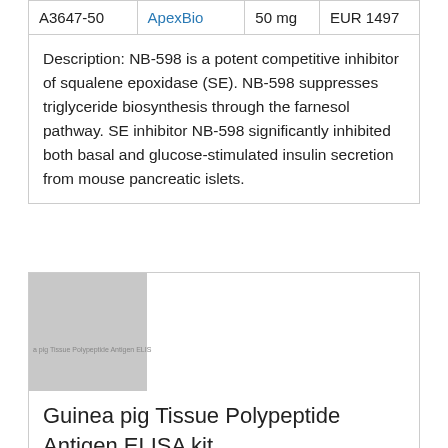| Cat ID | Vendor | Qty | Price |
| --- | --- | --- | --- |
| A3647-50 | ApexBio | 50 mg | EUR 1497 |
| Description: NB-598 is a potent competitive inhibitor of squalene epoxidase (SE). NB-598 suppresses triglyceride biosynthesis through the farnesol pathway. SE inhibitor NB-598 significantly inhibited both basal and glucose-stimulated insulin secretion from mouse pancreatic islets. |  |  |  |
[Figure (photo): Placeholder thumbnail image for Guinea pig Tissue Polypeptide Antigen ELISA kit product listing, grey square with watermark text]
Guinea pig Tissue Polypeptide Antigen ELISA kit